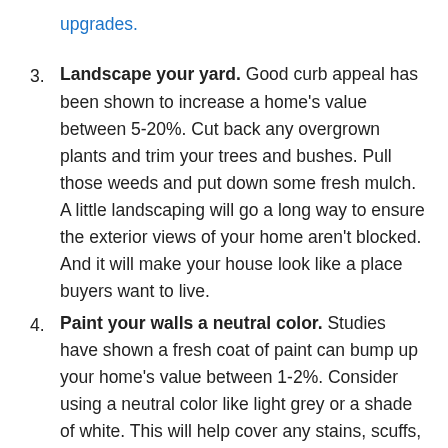upgrades.
3. Landscape your yard. Good curb appeal has been shown to increase a home's value between 5-20%. Cut back any overgrown plants and trim your trees and bushes. Pull those weeds and put down some fresh mulch. A little landscaping will go a long way to ensure the exterior views of your home aren't blocked. And it will make your house look like a place buyers want to live.
4. Paint your walls a neutral color. Studies have shown a fresh coat of paint can bump up your home's value between 1-2%. Consider using a neutral color like light grey or a shade of white. This will help cover any stains, scuffs, or chipped paint. In turn, you'll liven up the space and help a potential